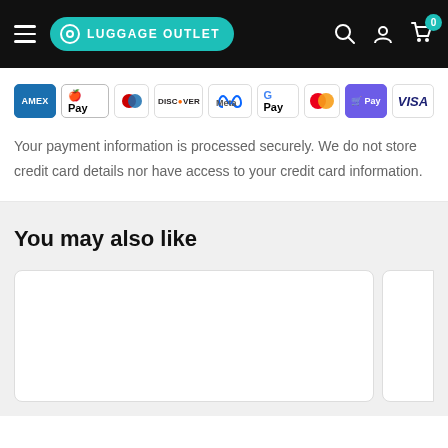LUGGAGE OUTLET
[Figure (other): Payment method icons: AMEX, Apple Pay, Diners Club, Discover, Meta Pay, Google Pay, Mastercard, Shop Pay, Visa]
Your payment information is processed securely. We do not store credit card details nor have access to your credit card information.
You may also like
[Figure (other): Product card placeholders in a horizontal scroll row]